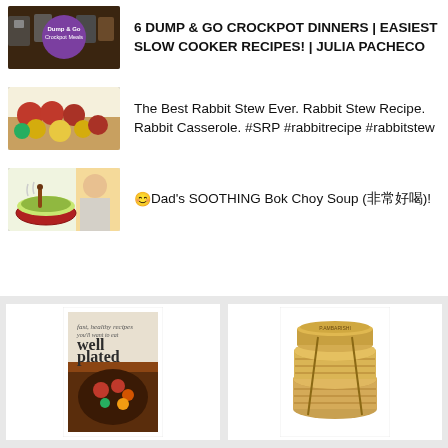6 DUMP & GO CROCKPOT DINNERS | EASIEST SLOW COOKER RECIPES! | JULIA PACHECO
The Best Rabbit Stew Ever. Rabbit Stew Recipe. Rabbit Casserole. #SRP #rabbitrecipe #rabbitstew
😊Dad's SOOTHING Bok Choy Soup (非常好喝)!
[Figure (photo): Well Plated cookbook cover with food photography]
[Figure (photo): Bamboo steamer basket product photo]